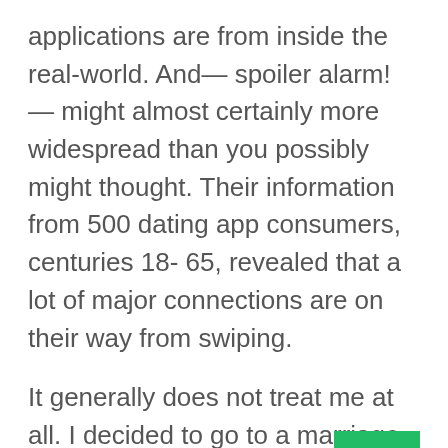applications are from inside the real-world. And— spoiler alarm! — might almost certainly more widespread than you possibly might thought. Their information from 500 dating app consumers, centuries 18- 65, revealed that a lot of major connections are on their way from swiping.
It generally does not treat me at all. I decided to go to a marriage just the past year in the couples satisfied on Tinder, i will one in 2010 the spot that the partners found on OkCupid. Hell, I fulfilled my personal girlfriend on Tinder and then we've really been